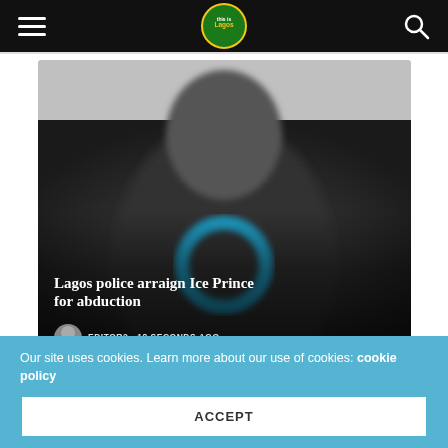Navigation bar with hamburger menu, This is Lagos logo, and search icon
[Figure (photo): Blurry photo of a man wearing sunglasses and a dark hoodie with a blue circular graphic, standing against a light grey background]
Lagos police arraign Ice Prince for abduction
EDITOR2 - 18 SECONDS AGO
Our site uses cookies. Learn more about our use of cookies: cookie policy
ACCEPT